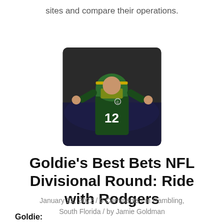sites and compare their operations.
[Figure (photo): NFL quarterback wearing green and yellow jersey number 12, celebrating on the field]
Goldie's Best Bets NFL Divisional Round: Ride with Rodgers
January 22, 2022 / 0 Comments / in Gambling, South Florida / by Jamie Goldman
Goldie: